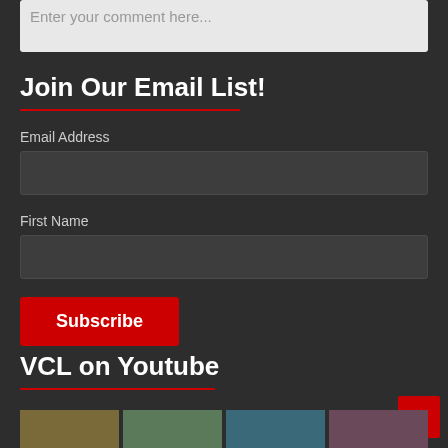Enter your comment here...
Join Our Email List!
Email Address
First Name
Subscribe
VCL on Youtube